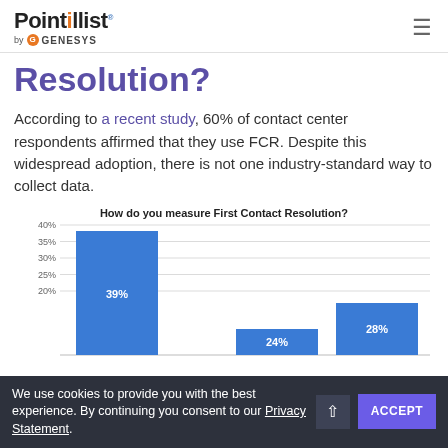Pointillist by Genesys
Resolution?
According to a recent study, 60% of contact center respondents affirmed that they use FCR. Despite this widespread adoption, there is not one industry-standard way to collect data.
[Figure (bar-chart): How do you measure First Contact Resolution?]
We use cookies to provide you with the best experience. By continuing you consent to our Privacy Statement.